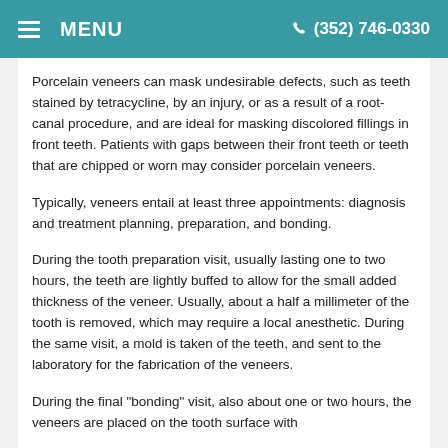MENU  (352) 746-0330
Porcelain veneers can mask undesirable defects, such as teeth stained by tetracycline, by an injury, or as a result of a root-canal procedure, and are ideal for masking discolored fillings in front teeth. Patients with gaps between their front teeth or teeth that are chipped or worn may consider porcelain veneers.
Typically, veneers entail at least three appointments: diagnosis and treatment planning, preparation, and bonding.
During the tooth preparation visit, usually lasting one to two hours, the teeth are lightly buffed to allow for the small added thickness of the veneer. Usually, about a half a millimeter of the tooth is removed, which may require a local anesthetic. During the same visit, a mold is taken of the teeth, and sent to the laboratory for the fabrication of the veneers.
During the final "bonding" visit, also about one or two hours, the veneers are placed on the tooth surface with